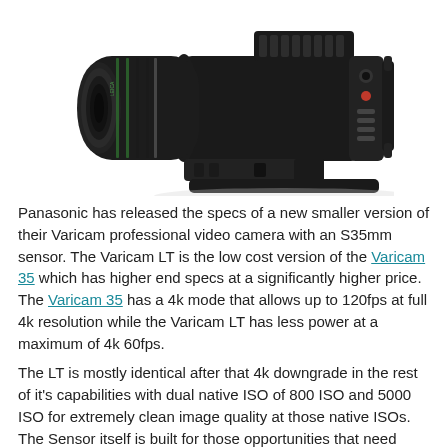[Figure (photo): Panasonic Varicam LT professional cinema camera with large lens attached, viewed from front-left angle showing body controls and mounting hardware, on white background.]
Panasonic has released the specs of a new smaller version of their Varicam professional video camera with an S35mm sensor. The Varicam LT is the low cost version of the Varicam 35 which has higher end specs at a significantly higher price. The Varicam 35 has a 4k mode that allows up to 120fps at full 4k resolution while the Varicam LT has less power at a maximum of 4k 60fps.
The LT is mostly identical after that 4k downgrade in the rest of it's capabilities with dual native ISO of 800 ISO and 5000 ISO for extremely clean image quality at those native ISOs. The Sensor itself is built for those opportunities that need higher